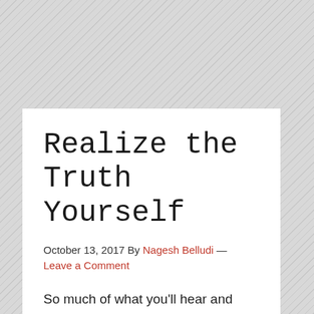Realize the Truth Yourself
October 13, 2017 By Nagesh Belludi — Leave a Comment
So much of what you'll hear and what you're taught may turn out to be incorrect on closer scrutiny.